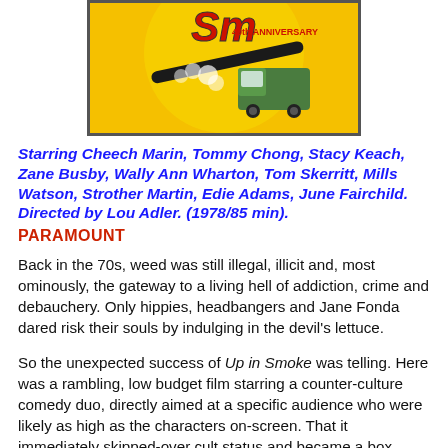[Figure (illustration): Movie poster for Up in Smoke 40th Anniversary edition showing stylized logo text with a green truck and smoke on a yellow background]
Starring Cheech Marin, Tommy Chong, Stacy Keach, Zane Busby, Wally Ann Wharton, Tom Skerritt, Mills Watson, Strother Martin, Edie Adams, June Fairchild. Directed by Lou Adler. (1978/85 min).
PARAMOUNT
Back in the 70s, weed was still illegal, illicit and, most ominously, the gateway to a living hell of addiction, crime and debauchery. Only hippies, headbangers and Jane Fonda dared risk their souls by indulging in the devil's lettuce.
So the unexpected success of Up in Smoke was telling. Here was a rambling, low budget film starring a counter-culture comedy duo, directly aimed at a specific audience who were likely as high as the characters on-screen. That it immediately skipped-over cult status and became a box